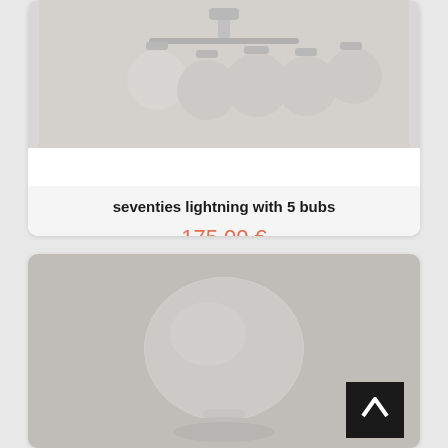[Figure (photo): Seventies style chandelier with 5 round frosted glass bulbs, chrome fittings, grey background]
seventies lightning with 5 bubs
175,00 €
[Figure (photo): Rounded mushroom-shaped frosted glass table lamp with stacked base, grey background, back-to-top arrow button overlay]